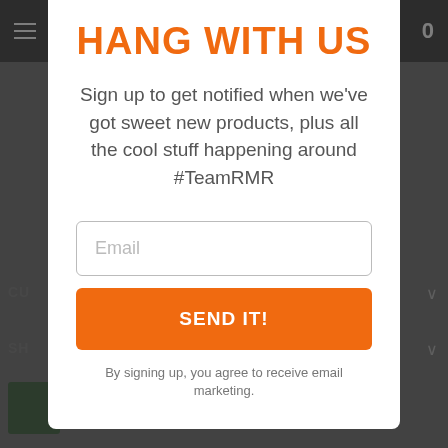HANG WITH US
Sign up to get notified when we've got sweet new products, plus all the cool stuff happening around #TeamRMR
Email
SEND IT!
By signing up, you agree to receive email marketing.